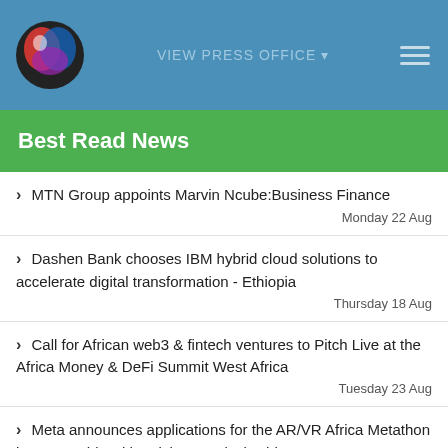VIEW PRESS OFFICE
Best Read News
MTN Group appoints Marvin Ncube:Business Finance
Monday 22 Aug
Dashen Bank chooses IBM hybrid cloud solutions to accelerate digital transformation - Ethiopia
Thursday 18 Aug
Call for African web3 & fintech ventures to Pitch Live at the Africa Money & DeFi Summit West Africa
Tuesday 23 Aug
Meta announces applications for the AR/VR Africa Metathon in partnership with Imisi 3D & Black Rhino
Monday 22 Aug